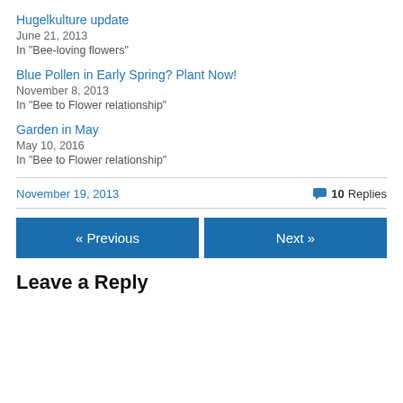Hugelkulture update
June 21, 2013
In "Bee-loving flowers"
Blue Pollen in Early Spring? Plant Now!
November 8, 2013
In "Bee to Flower relationship"
Garden in May
May 10, 2016
In "Bee to Flower relationship"
November 19, 2013
10 Replies
« Previous
Next »
Leave a Reply